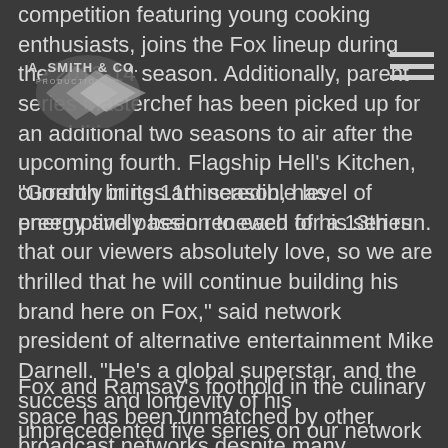competition featuring young cooking enthusiasts, joins the Fox lineup during the 2013-14 season. Additionally, parent series Masterchef has been picked up for an additional two seasons to air after the upcoming fourth. Flagship Hell's Kitchen, currently in its 11th season, has preemptively been renewed for a 13th run.
[Figure (logo): A. Smith & Co. Productions logo with stylized diamond/arrow graphic]
"Gordon brings an incredible level of energy and passion to each of his series that our viewers absolutely love, so we are thrilled that he will continue building his brand here on Fox," said network president of alternative entertainment Mike Darnell. "He's a global superstar, and the success and longevity of his unprecedented five series on our network proves that America just can't get enough of Gordon."
Fox and Ramsay's foothold in the culinary space has been unmatched by other broadcast networks despite many attempts. Junior Masterchef, Masterchef and Hell's Kitchen join the previously renewed Kitchen.